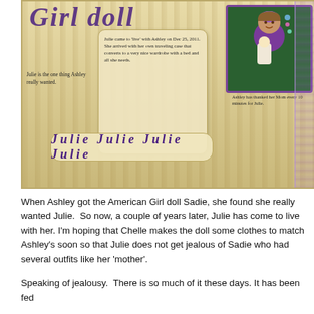[Figure (photo): Decorative scrapbook page featuring a photo of a girl in a purple hoodie holding an American Girl doll (Julie), with handwritten-style captions, a wood-grain background, and a banner reading 'Julie Julie Julie Julie'. Captions: 'Julie is the one thing Ashley really wanted.', 'Julie came to live with Ashley on Dec 25, 2011. She arrived with her own traveling case that converts to a very nice wardrobe with a bed and all she needs.', 'Ashley has thanked her Mom every 10 minutes for Julie.']
When Ashley got the American Girl doll Sadie, she found she really wanted Julie. So now, a couple of years later, Julie has come to live with her. I'm hoping that Chelle makes the doll some clothes to match Ashley's soon so that Julie does not get jealous of Sadie who had several outfits like her 'mother'.
Speaking of jealousy. There is so much of it these days. It has been fed